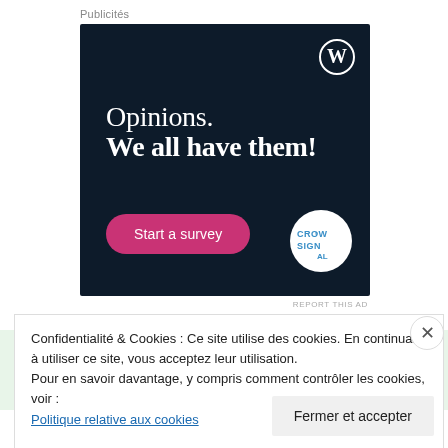Publicités
[Figure (illustration): Advertisement banner for WordPress/Crowdsignal with dark navy background. Shows WordPress 'W' circle logo top right. Text reads 'Opinions. We all have them!' in white serif font. Pink rounded 'Start a survey' button bottom left. Crowdsignal circular logo bottom right.]
REPORT THIS AD
Confidentialité & Cookies : Ce site utilise des cookies. En continuant à utiliser ce site, vous acceptez leur utilisation.
Pour en savoir davantage, y compris comment contrôler les cookies, voir : Politique relative aux cookies
Fermer et accepter